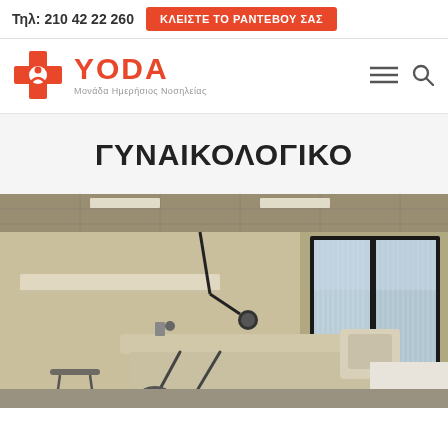Τηλ: 210 42 22 260  ΚΛΕΙΣΤΕ ΤΟ ΡΑΝΤΕΒΟΥ ΣΑΣ
[Figure (logo): YODA Μονάδα Ημερήσιος Νοσηλείας logo with orange cross and text]
ΓΥΝΑΙΚΟΛΟΓΙΚΟ
[Figure (photo): Interior photo of a gynecological examination room with medical equipment, examination table, overhead lights, and a large window with vertical blinds]